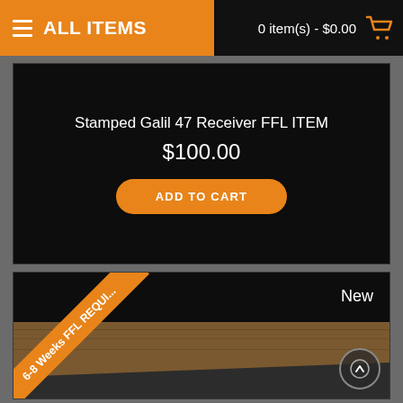ALL ITEMS | 0 item(s) - $0.00
Stamped Galil 47 Receiver FFL ITEM
$100.00
ADD TO CART
[Figure (photo): Product listing card with orange ribbon reading '6-8 Weeks FFL REQUI...' and a 'New' badge, showing a metal firearm receiver part on a wooden background]
New
6-8 Weeks FFL REQUI...